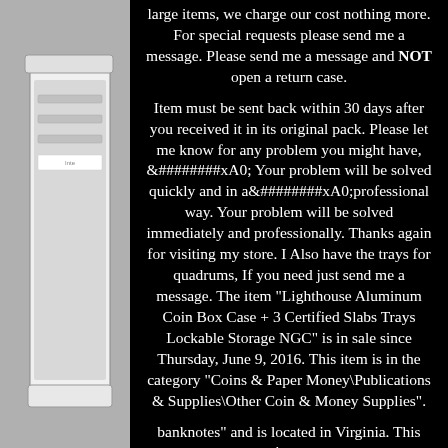[Figure (photo): Side view of a white aluminum coin storage box/case sitting in a white tray, photographed against a light gray background.]
large items, we charge our cost nothing more. For special requests please send me a message. Please send me a message and NOT open a return case.

Item must be sent back within 30 days after you received it in its original pack. Please let me know for any problem you might have, &#########xA0; Your problem will be solved quickly and in a&#########xA0;professional way. Your problem will be solved immediately and professionally. Thanks again for visiting my store. I Also have the trays for quadrums, If you need just send me a message. The item "Lighthouse Aluminum Coin Box Case + 3 Certified Slabs Trays Lockable Storage NGC" is in sale since Thursday, June 9, 2016. This item is in the category "Coins & Paper Money\Publications & Supplies\Other Coin & Money Supplies".

banknotes" and is located in Virginia. This item